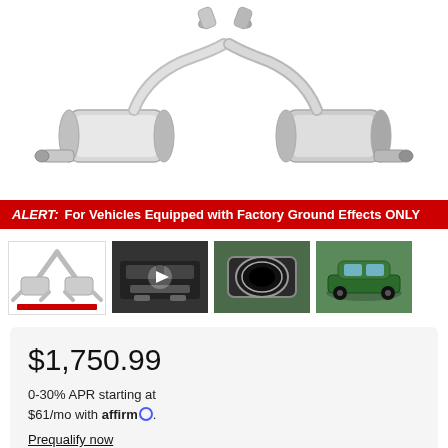[Figure (photo): Stainless steel dual exhaust system with two mufflers and four tailpipes on white background]
ALERT: For Vehicles Equipped with Factory Ground Effects ONLY
[Figure (photo): Four thumbnail images: exhaust diagram, rear of Camaro video thumbnail, close-up of exhaust tip, green Camaro rendering]
$1,750.99
0-30% APR starting at $61/mo with affirm.
Prequalify now